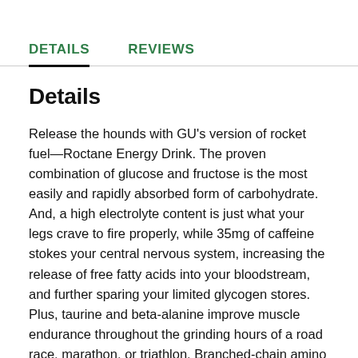DETAILS   REVIEWS
Details
Release the hounds with GU's version of rocket fuel—Roctane Energy Drink. The proven combination of glucose and fructose is the most easily and rapidly absorbed form of carbohydrate. And, a high electrolyte content is just what your legs crave to fire properly, while 35mg of caffeine stokes your central nervous system, increasing the release of free fatty acids into your bloodstream, and further sparing your limited glycogen stores. Plus, taurine and beta-alanine improve muscle endurance throughout the grinding hours of a road race, marathon, or triathlon. Branched-chain amino acids speed recovery and reduce muscle damage, histidine buffers against acidic byproduct, and